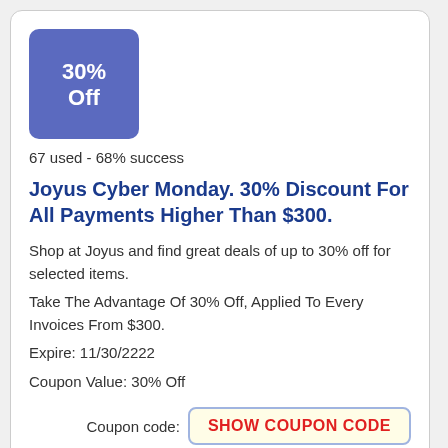[Figure (other): Blue square badge showing '30% Off']
67 used - 68% success
Joyus Cyber Monday. 30% Discount For All Payments Higher Than $300.
Shop at Joyus and find great deals of up to 30% off for selected items.
Take The Advantage Of 30% Off, Applied To Every Invoices From $300.
Expire: 11/30/2222
Coupon Value: 30% Off
Coupon code: SHOW COUPON CODE